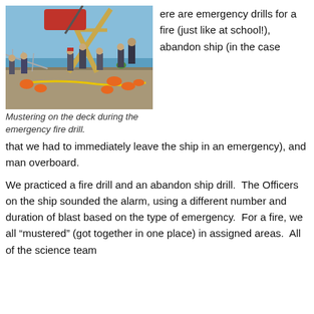[Figure (photo): People mustering on the deck of a ship during an emergency fire drill, with orange life vests and equipment visible on deck, blue sky and ocean in the background.]
Mustering on the deck during the emergency fire drill.
ere are emergency drills for a fire (just like at school!), abandon ship (in the case that we had to immediately leave the ship in an emergency), and man overboard.
We practiced a fire drill and an abandon ship drill.  The Officers on the ship sounded the alarm, using a different number and duration of blast based on the type of emergency.  For a fire, we all “mustered” (got together in one place) in assigned areas.  All of the science team